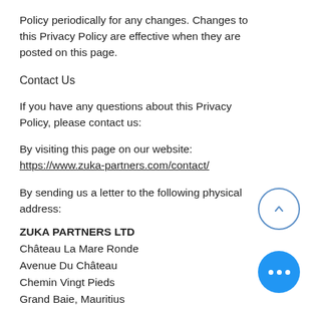Policy periodically for any changes. Changes to this Privacy Policy are effective when they are posted on this page.
Contact Us
If you have any questions about this Privacy Policy, please contact us:
By visiting this page on our website: https://www.zuka-partners.com/contact/
By sending us a letter to the following physical address:
ZUKA PARTNERS LTD
Château La Mare Ronde
Avenue Du Château
Chemin Vingt Pieds
Grand Baie, Mauritius